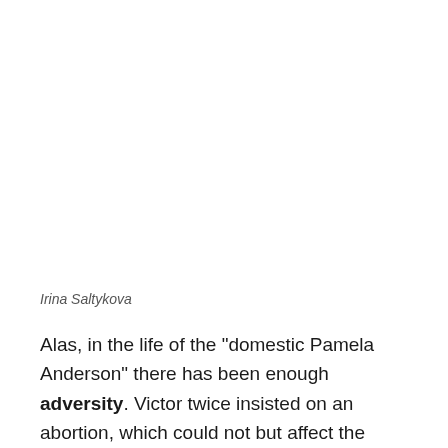Irina Saltykova
Alas, in the life of the "domestic Pamela Anderson" there has been enough adversity. Victor twice insisted on an abortion, which could not but affect the woman's psychological state (as well as her